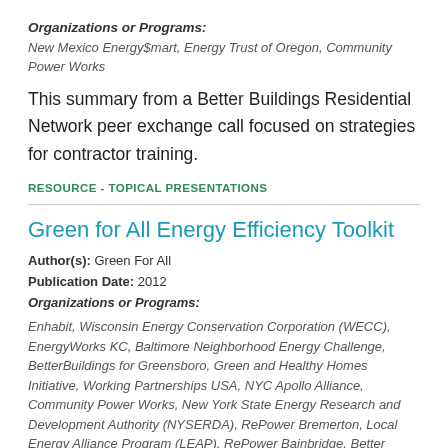Organizations or Programs: New Mexico Energy$mart, Energy Trust of Oregon, Community Power Works
This summary from a Better Buildings Residential Network peer exchange call focused on strategies for contractor training.
RESOURCE - TOPICAL PRESENTATIONS
Green for All Energy Efficiency Toolkit
Author(s): Green For All
Publication Date: 2012
Organizations or Programs:
Enhabit, Wisconsin Energy Conservation Corporation (WECC), EnergyWorks KC, Baltimore Neighborhood Energy Challenge, BetterBuildings for Greensboro, Green and Healthy Homes Initiative, Working Partnerships USA, NYC Apollo Alliance, Community Power Works, New York State Energy Research and Development Authority (NYSERDA), RePower Bremerton, Local Energy Alliance Program (LEAP), RePower Bainbridge, Better Buildings Near Eastside Neighborhood Sweeps Program, RePower Kitsap, Michigan Saves, Keystone Home Energy Loan Program (HELP), EnergySmart, Efficiency Vermont, Long Island Green Homes, Energy Impact Illinois, Energize